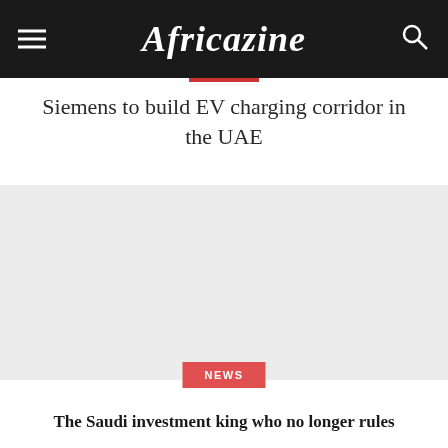Africazine
Siemens to build EV charging corridor in the UAE
[Figure (other): Advertisement or image placeholder area]
NEWS
The Saudi investment king who no longer rules